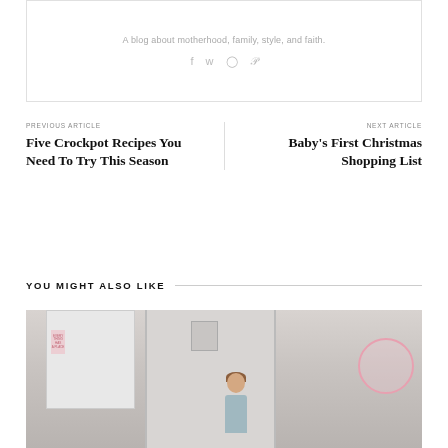A blog about motherhood, family, style, and faith.
[Figure (other): Social media icons: Facebook, Twitter, Instagram, Pinterest]
PREVIOUS ARTICLE
Five Crockpot Recipes You Need To Try This Season
NEXT ARTICLE
Baby's First Christmas Shopping List
YOU MIGHT ALSO LIKE
[Figure (photo): Photo of a young girl standing indoors near white doors, with a pink circular graphic overlay on the right side]